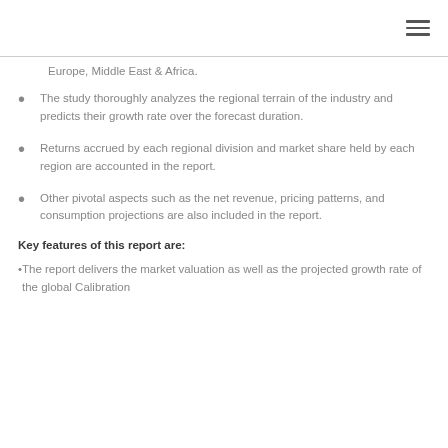☰
Europe, Middle East & Africa.
The study thoroughly analyzes the regional terrain of the industry and predicts their growth rate over the forecast duration.
Returns accrued by each regional division and market share held by each region are accounted in the report.
Other pivotal aspects such as the net revenue, pricing patterns, and consumption projections are also included in the report.
Key features of this report are:
The report delivers the market valuation as well as the projected growth rate of the global Calibration